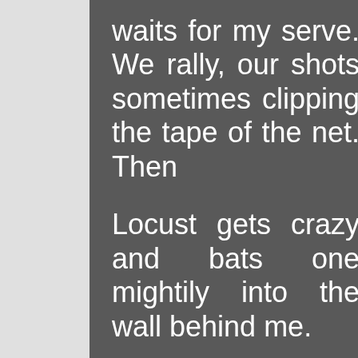waits for my serve. We rally, our shots sometimes clipping the tape of the net. Then

Locust gets crazy and bats one mightily into the wall behind me.